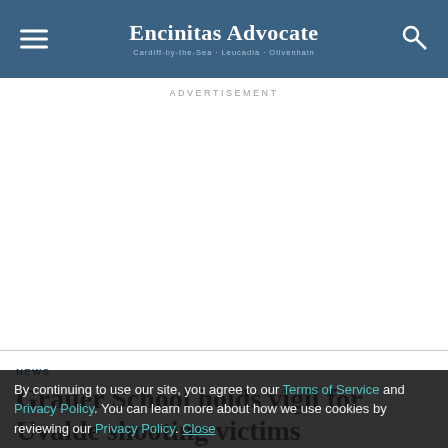Encinitas Advocate
ADVERTISEMENT
NEWS
Grauer School holds vigil for Uvalde shooting victims
By continuing to use our site, you agree to our Terms of Service and Privacy Policy. You can learn more about how we use cookies by reviewing our Privacy Policy. Close